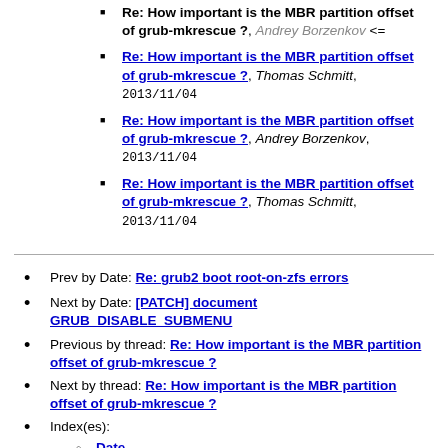Re: How important is the MBR partition offset of grub-mkrescue ?, Andrey Borzenkov <=
Re: How important is the MBR partition offset of grub-mkrescue ?, Thomas Schmitt, 2013/11/04
Re: How important is the MBR partition offset of grub-mkrescue ?, Andrey Borzenkov, 2013/11/04
Re: How important is the MBR partition offset of grub-mkrescue ?, Thomas Schmitt, 2013/11/04
Prev by Date: Re: grub2 boot root-on-zfs errors
Next by Date: [PATCH] document GRUB_DISABLE_SUBMENU
Previous by thread: Re: How important is the MBR partition offset of grub-mkrescue ?
Next by thread: Re: How important is the MBR partition offset of grub-mkrescue ?
Index(es): Date, Thread